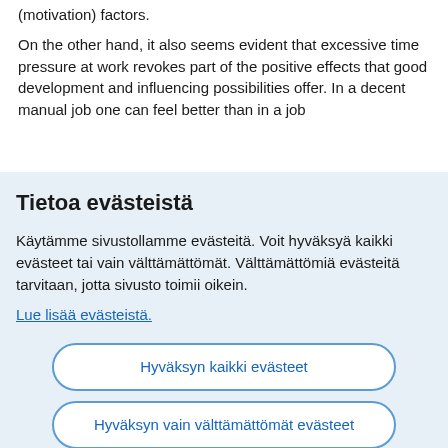(motivation) factors.
On the other hand, it also seems evident that excessive time pressure at work revokes part of the positive effects that good development and influencing possibilities offer. In a decent manual job one can feel better than in a job [cut off]
Tietoa evästeistä
Käytämme sivustollamme evästeitä. Voit hyväksyä kaikki evästeet tai vain välttämättömät. Välttämättömiä evästeitä tarvitaan, jotta sivusto toimii oikein.
Lue lisää evästeistä.
Hyväksyn kaikki evästeet
Hyväksyn vain välttämättömät evästeet